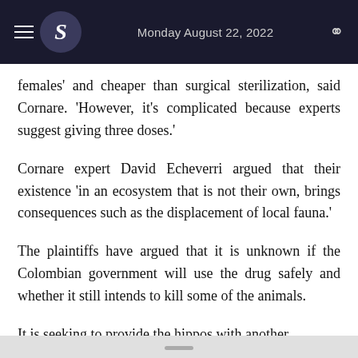Monday August 22, 2022
females' and cheaper than surgical sterilization, said Cornare. 'However, it's complicated because experts suggest giving three doses.'
Cornare expert David Echeverri argued that their existence 'in an ecosystem that is not their own, brings consequences such as the displacement of local fauna.'
The plaintiffs have argued that it is unknown if the Colombian government will use the drug safely and whether it still intends to kill some of the animals.
It is seeking to provide the hippos with another